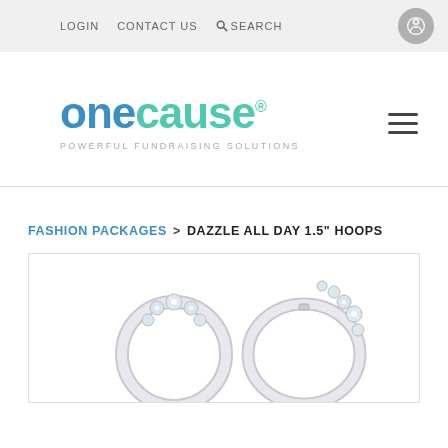LOGIN   CONTACT US   SEARCH
[Figure (logo): OneCause logo with text 'onecause®' and tagline 'POWERFUL FUNDRAISING SOLUTIONS']
FASHION PACKAGES > DAZZLE ALL DAY 1.5" HOOPS
[Figure (photo): Product photo of diamond hoop earrings (Dazzle All Day 1.5" Hoops), partially visible at bottom of page]